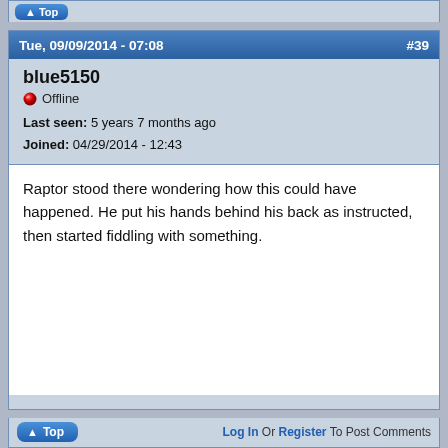Tue, 09/09/2014 - 07:08  #39
blue5150
Offline
Last seen: 5 years 7 months ago
Joined: 04/29/2014 - 12:43
Raptor stood there wondering how this could have happened. He put his hands behind his back as instructed, then started fiddling with something.
Top  Log In Or Register To Post Comments